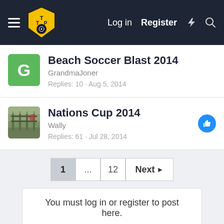TTP Forum — Log in | Register
Beach Soccer Blast 2014 — GrandmaJoner — Replies: 10 · Aug 5, 2014
Nations Cup 2014 — Wally — Replies: 61 · Jul 28, 2014
1 ... 12 Next ▶
You must log in or register to post here.
Your TTP Wallet